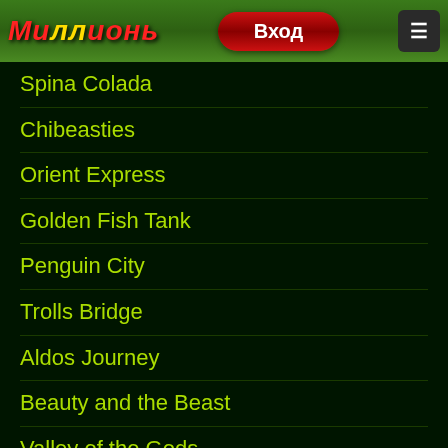Миллионь — Вход
Spina Colada
Chibeasties
Orient Express
Golden Fish Tank
Penguin City
Trolls Bridge
Aldos Journey
Beauty and the Beast
Valley of the Gods
Sunny Shores